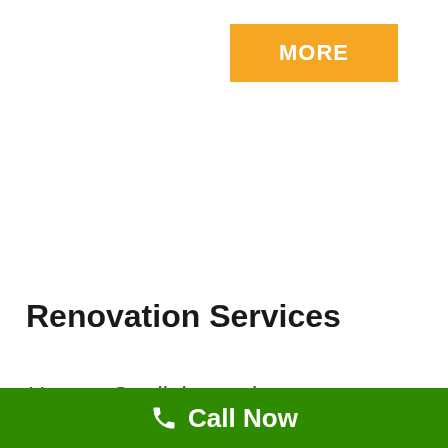[Figure (other): Orange rectangular button with white bold text 'MORE']
Renovation Services
Here at Starlight, we have a tea
[Figure (other): Green call-to-action bar with phone icon and 'Call Now' text in white]